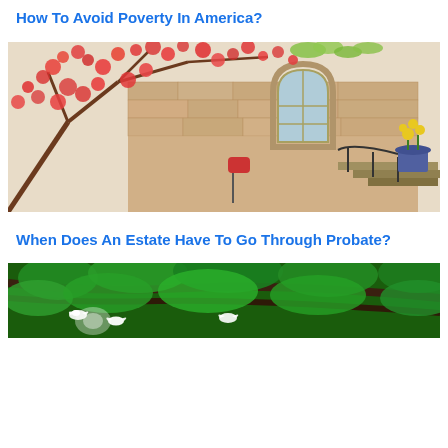How To Avoid Poverty In America?
[Figure (illustration): Watercolor illustration of a house exterior with red-leafed tree branches, gothic arched window, stone wall, mailbox, staircase railing, and potted yellow flowers]
When Does An Estate Have To Go Through Probate?
[Figure (photo): Photo of lush green forest with tree branches and white doves flying among the trees]